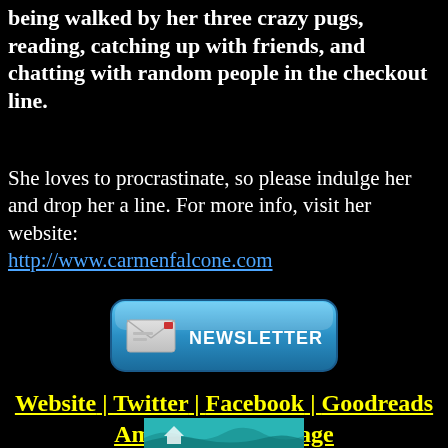being walked by her three crazy pugs, reading, catching up with friends, and chatting with random people in the checkout line.
She loves to procrastinate, so please indulge her and drop her a line. For more info, visit her website: http://www.carmenfalcone.com
[Figure (infographic): Blue newsletter signup button with envelope icon and text NEWSLETTER]
Website | Twitter | Facebook | Goodreads Amazon Author Page
[Figure (photo): Partial image at bottom of page, appears to be a book cover or banner with teal/turquoise waves]